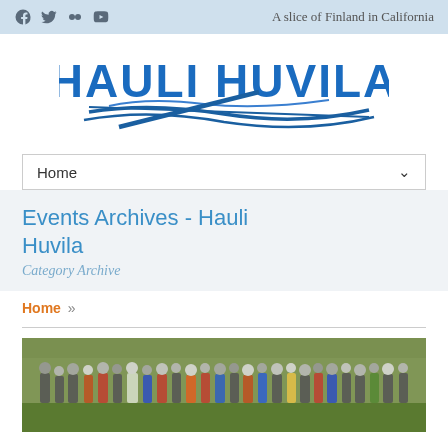A slice of Finland in California
[Figure (logo): Hauli Huvila logo with blue stylized text and wave/flag design]
Home
Events Archives - Hauli Huvila
Category Archive
Home »
[Figure (photo): Group photo of approximately 20 people standing on a golf course green]